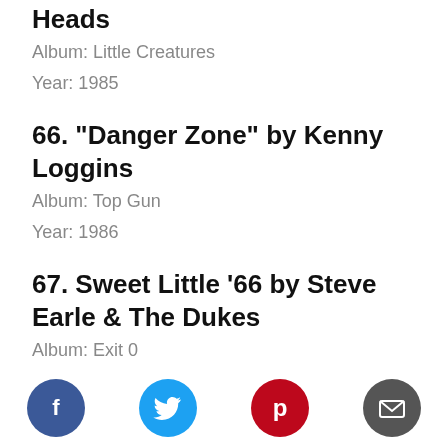Heads
Album: Little Creatures
Year: 1985
66. “Danger Zone” by Kenny Loggins
Album: Top Gun
Year: 1986
67. Sweet Little ’66 by Steve Earle & The Dukes
Album: Exit 0
Year: 1987
[Figure (infographic): Social sharing icons: Facebook (blue circle), Twitter (cyan circle), Pinterest (red circle), Email (dark grey circle)]